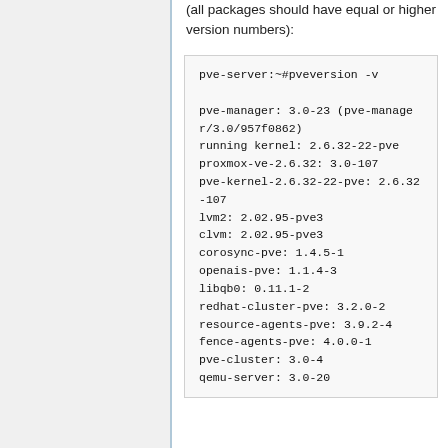(all packages should have equal or higher version numbers):
pve-server:~#pveversion -v

pve-manager: 3.0-23 (pve-manager/3.0/957f0862)
running kernel: 2.6.32-22-pve
proxmox-ve-2.6.32: 3.0-107
pve-kernel-2.6.32-22-pve: 2.6.32-107
lvm2: 2.02.95-pve3
clvm: 2.02.95-pve3
corosync-pve: 1.4.5-1
openais-pve: 1.1.4-3
libqb0: 0.11.1-2
redhat-cluster-pve: 3.2.0-2
resource-agents-pve: 3.9.2-4
fence-agents-pve: 4.0.0-1
pve-cluster: 3.0-4
qemu-server: 3.0-20